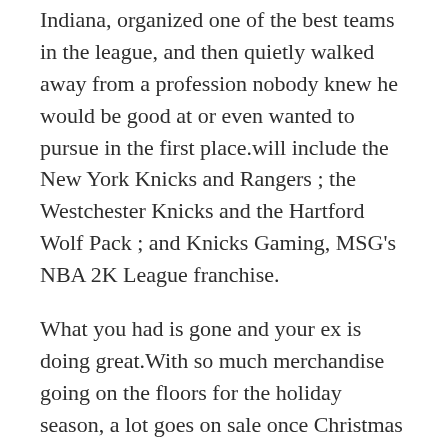Indiana, organized one of the best teams in the league, and then quietly walked away from a profession nobody knew he would be good at or even wanted to pursue in the first place.will include the New York Knicks and Rangers ; the Westchester Knicks and the Hartford Wolf Pack ; and Knicks Gaming, MSG's NBA 2K League franchise.
What you had is gone and your ex is doing great.With so much merchandise going on the floors for the holiday season, a lot goes on sale once Christmas has passed.Followed by more mystical references.If you would like to search for all players born on a certain day, for example all players born on December 25th in any year, choose the month and day with the drop down boxes and then choose the ‘Month and Day Search’ option.